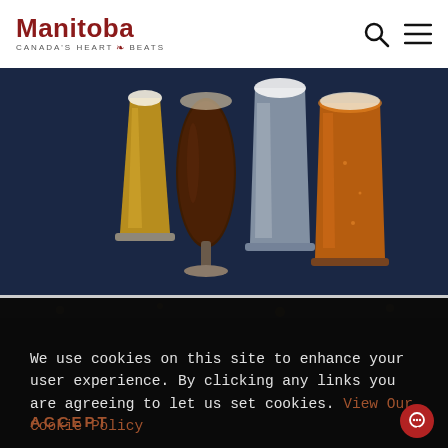Manitoba – Canada's Heart Beats
[Figure (illustration): Beer glasses illustration on dark navy background: a golden pilsner glass, a dark brown goblet, a frosted white glass, and an amber pint glass]
[Figure (photo): Dark photo strip showing what appears to be an indoor venue or bar ceiling with lights]
We use cookies on this site to enhance your user experience. By clicking any links you are agreeing to let us set cookies. View Our Cookie Policy
ACCEPT